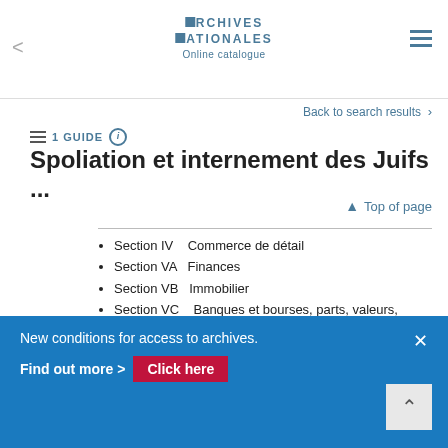ARCHIVES NATIONALES Online catalogue
Back to search results >
1 GUIDE
Spoliation et internement des Juifs ...
Top of page
Section IV    Commerce de détail
Section VA   Finances
Section VB   Immobilier
Section VC    Banques et bourses, parts, valeurs, actions, obligations, bons
Section VI    Bâtiment, ameublement
Section VI    Marchés
New conditions for access to archives. Find out more > Click here